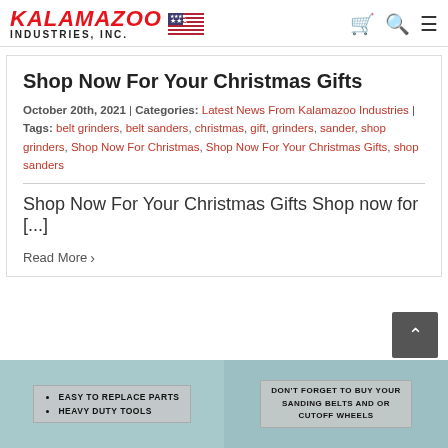KALAMAZOO INDUSTRIES, INC.
Shop Now For Your Christmas Gifts
October 20th, 2021 | Categories: Latest News From Kalamazoo Industries | Tags: belt grinders, belt sanders, christmas, gift, grinders, sander, shop grinders, Shop Now For Christmas, Shop Now For Your Christmas Gifts, shop sanders
Shop Now For Your Christmas Gifts Shop now for [...]
Read More
[Figure (photo): Bottom image strip showing two panels: left panel with bullet points 'EASY TO REPLACE PARTS' and 'HEAVY DUTY TOOLS' on a teal background; right panel with text 'DON'T FORGET TO BUY YOUR SANDING BELTS AND OR CUTOFF WHEELS' on a teal background]